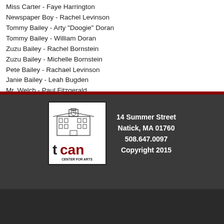Miss Carter - Faye Harrington
Newspaper Boy - Rachel Levinson
Tommy Bailey - Arty "Doogie" Doran
Tommy Bailey - William Doran
Zuzu Bailey - Rachel Bornstein
Zuzu Bailey - Michelle Bornstein
Pete Bailey - Rachael Levinson
Janie Bailey - Leah Bugden
Mr. Welch - Paul Fitzgerald
[Figure (logo): TCAN Center for Arts logo with clock tower building illustration, 't' in black and 'can' in red, CENTER FOR ARTS text below]
14 Summer Street
Natick, MA 01760
508.647.0097
Copyright 2015